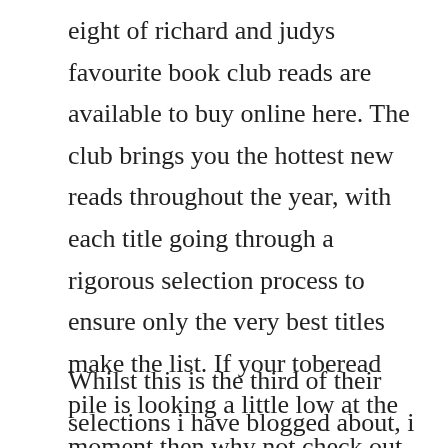eight of richard and judys favourite book club reads are available to buy online here. The club brings you the hottest new reads throughout the year, with each title going through a rigorous selection process to ensure only the very best titles make the list. If your toberead pile is looking a little low at the moment then why not check out some of the latest fiction books to find something to perk it up.
Whilst this is the third of their selections i have blogged about, i am yet to complete the